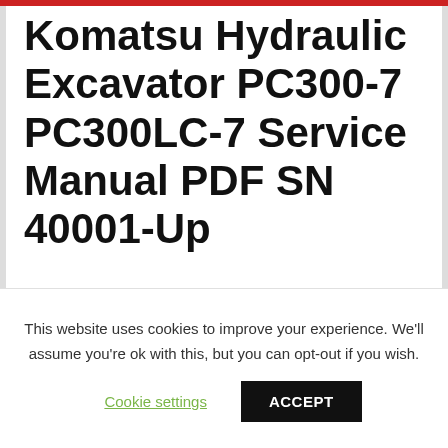Komatsu Hydraulic Excavator PC300-7 PC300LC-7 Service Manual PDF SN 40001-Up
Here you can download KOMATSU Hydraulic Excavator PC300-7, PC300LC-7 (SN: 40001 – Above) models Service Manual. This KOMATSU Service Manual PDF has detailed instructions and
This website uses cookies to improve your experience. We'll assume you're ok with this, but you can opt-out if you wish.
Cookie settings    ACCEPT